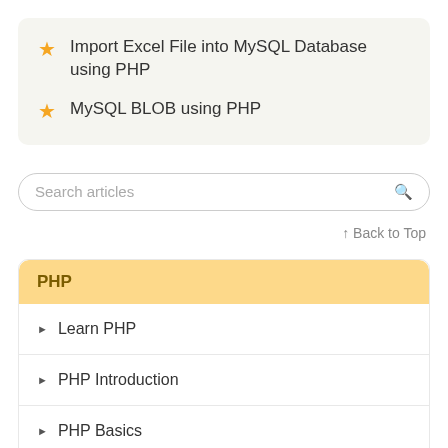Import Excel File into MySQL Database using PHP
MySQL BLOB using PHP
Search articles
↑ Back to Top
PHP
Learn PHP
PHP Introduction
PHP Basics
Contact Form